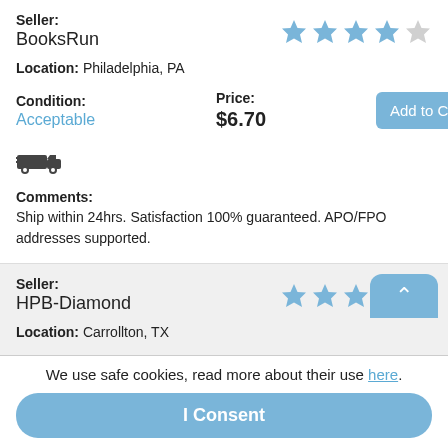Seller: BooksRun
Location: Philadelphia, PA
Condition: Acceptable
Price: $6.70
Comments: Ship within 24hrs. Satisfaction 100% guaranteed. APO/FPO addresses supported.
Seller: HPB-Diamond
Location: Carrollton, TX
Condition:
Price:
We use safe cookies, read more about their use here.
I Consent